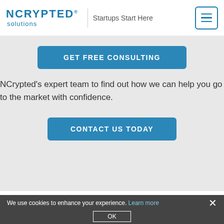NCRYPTeD solutions | Startups Start Here
GET FREE CONSULTING
NCrypted's expert team to find out how we can help you go to the market with confidence.
CONTACT US TODAY
The Best Tinder Clone for Online online dating Website Requirements
[Figure (illustration): Purple circular avatar with letter R inside]
We use cookies to enhance your experience. Learn more  OK  ×